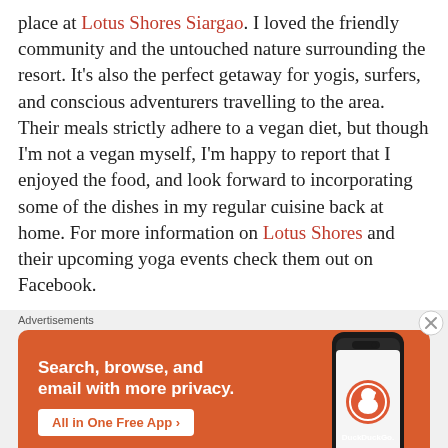place at Lotus Shores Siargao. I loved the friendly community and the untouched nature surrounding the resort. It's also the perfect getaway for yogis, surfers, and conscious adventurers travelling to the area. Their meals strictly adhere to a vegan diet, but though I'm not a vegan myself, I'm happy to report that I enjoyed the food, and look forward to incorporating some of the dishes in my regular cuisine back at home. For more information on Lotus Shores and their upcoming yoga events check them out on Facebook.
Advertisements
[Figure (infographic): DuckDuckGo advertisement banner on orange background. Text: 'Search, browse, and email with more privacy. All in One Free App' with DuckDuckGo logo and a phone graphic.]